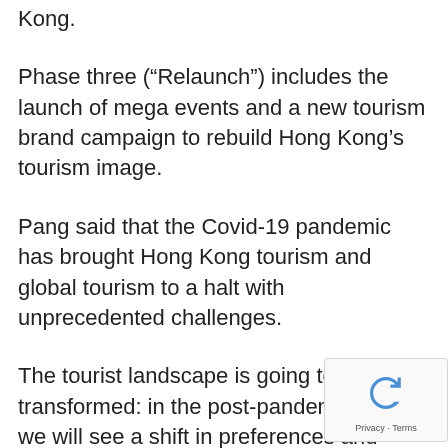Kong.
Phase three (“Relaunch”) includes the launch of mega events and a new tourism brand campaign to rebuild Hong Kong’s tourism image.
Pang said that the Covid-19 pandemic has brought Hong Kong tourism and global tourism to a halt with unprecedented challenges.
The tourist landscape is going to be transformed: in the post-pandemic world, we will see a shift in preferences and conduct between the travelers-conditions of public health destinations and hygiene standards of transport, hotels and